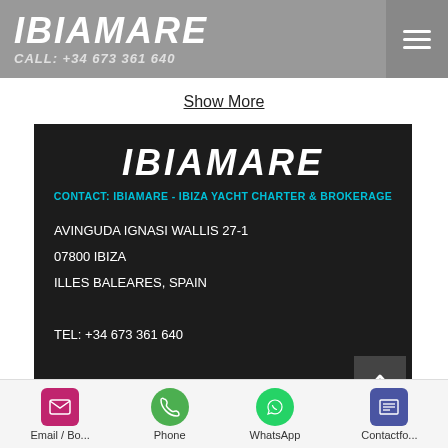IBIAMARE  CALL: +34 673 361 640
Show More
[Figure (screenshot): Ibiamare contact card on dark background with logo, contact title, address, and phone numbers]
Email / Bo...  Phone  WhatsApp  Contactfo...